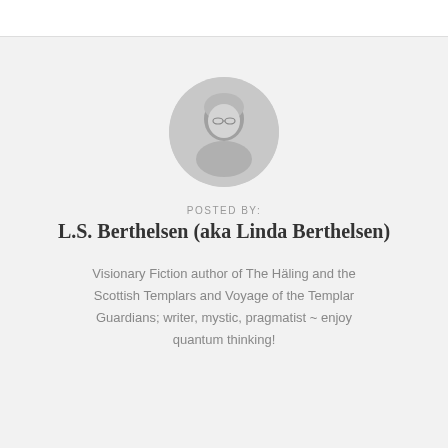[Figure (photo): Circular black-and-white portrait photo of L.S. Berthelsen, an older woman with short light hair and glasses.]
POSTED BY:
L.S. Berthelsen (aka Linda Berthelsen)
Visionary Fiction author of The Häling and the Scottish Templars and Voyage of the Templar Guardians; writer, mystic, pragmatist ~ enjoy quantum thinking!